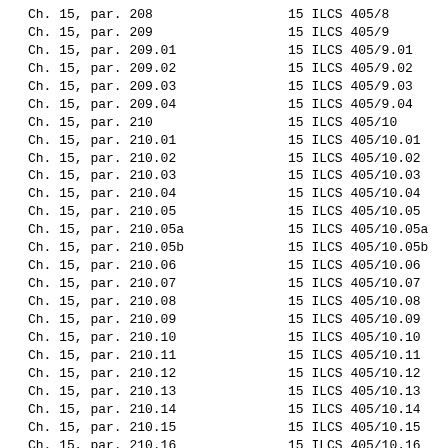| Old Citation | New Citation |
| --- | --- |
| Ch. 15, par. 208 | 15 ILCS 405/8 |
| Ch. 15, par. 209 | 15 ILCS 405/9 |
| Ch. 15, par. 209.01 | 15 ILCS 405/9.01 |
| Ch. 15, par. 209.02 | 15 ILCS 405/9.02 |
| Ch. 15, par. 209.03 | 15 ILCS 405/9.03 |
| Ch. 15, par. 209.04 | 15 ILCS 405/9.04 |
| Ch. 15, par. 210 | 15 ILCS 405/10 |
| Ch. 15, par. 210.01 | 15 ILCS 405/10.01 |
| Ch. 15, par. 210.02 | 15 ILCS 405/10.02 |
| Ch. 15, par. 210.03 | 15 ILCS 405/10.03 |
| Ch. 15, par. 210.04 | 15 ILCS 405/10.04 |
| Ch. 15, par. 210.05 | 15 ILCS 405/10.05 |
| Ch. 15, par. 210.05a | 15 ILCS 405/10.05a |
| Ch. 15, par. 210.05b | 15 ILCS 405/10.05b |
| Ch. 15, par. 210.06 | 15 ILCS 405/10.06 |
| Ch. 15, par. 210.07 | 15 ILCS 405/10.07 |
| Ch. 15, par. 210.08 | 15 ILCS 405/10.08 |
| Ch. 15, par. 210.09 | 15 ILCS 405/10.09 |
| Ch. 15, par. 210.10 | 15 ILCS 405/10.10 |
| Ch. 15, par. 210.11 | 15 ILCS 405/10.11 |
| Ch. 15, par. 210.12 | 15 ILCS 405/10.12 |
| Ch. 15, par. 210.13 | 15 ILCS 405/10.13 |
| Ch. 15, par. 210.14 | 15 ILCS 405/10.14 |
| Ch. 15, par. 210.15 | 15 ILCS 405/10.15 |
| Ch. 15, par. 210.16 | 15 ILCS 405/10.16 |
| Ch. 15, par. 210.17 | 15 ILCS 405/10.17 |
| Ch. 15, par. 211 | 15 ILCS 405/11 |
| Ch. 15, par. 212 | 15 ILCS 405/12 |
| Ch. 15, par. 213 | 15 ILCS 405/13 |
| Ch. 15, par. 214 | 15 ILCS 405/14 |